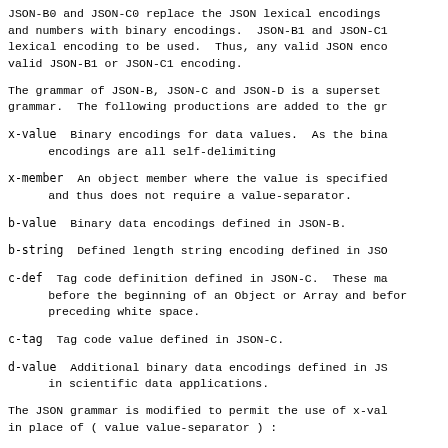JSON-B0 and JSON-C0 replace the JSON lexical encodings and numbers with binary encodings. JSON-B1 and JSON-C1 lexical encoding to be used. Thus, any valid JSON enco valid JSON-B1 or JSON-C1 encoding.
The grammar of JSON-B, JSON-C and JSON-D is a superset grammar. The following productions are added to the gr
x-value  Binary encodings for data values.  As the bina encodings are all self-delimiting
x-member  An object member where the value is specified and thus does not require a value-separator.
b-value  Binary data encodings defined in JSON-B.
b-string  Defined length string encoding defined in JSO
c-def  Tag code definition defined in JSON-C.  These ma before the beginning of an Object or Array and befor preceding white space.
c-tag  Tag code value defined in JSON-C.
d-value  Additional binary data encodings defined in JS in scientific data applications.
The JSON grammar is modified to permit the use of x-val in place of ( value value-separator ) :